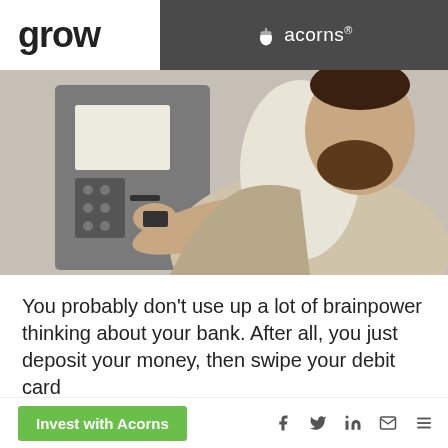grow | acorns®
[Figure (photo): A bearded man in a light suit jacket using an ATM machine, inserting or using a card at the keypad.]
You probably don't use up a lot of brainpower thinking about your bank. After all, you just deposit your money, then swipe your debit card or visit the ATM, when you need it, right?
Invest with Acorns